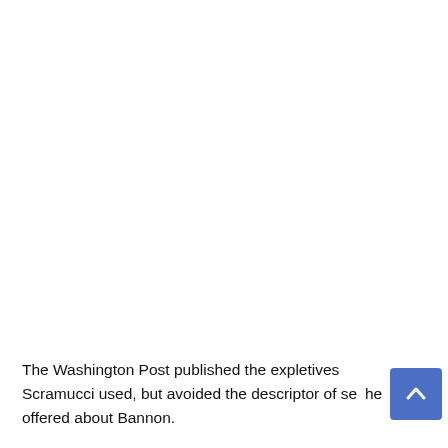The Washington Post published the expletives Scramucci used, but avoided the descriptor of se[xual act] he offered about Bannon.